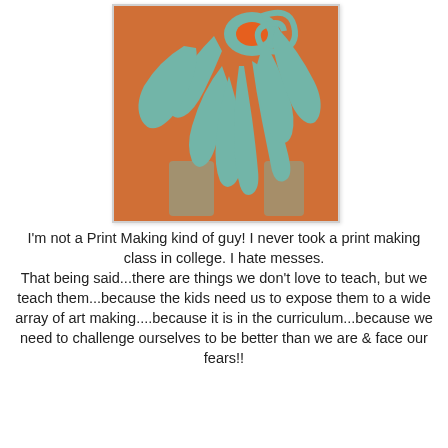[Figure (illustration): A printmaking artwork showing an abstract sun or flower figure with orange and light blue/turquoise colors, created using a block printing technique. Orange organic shapes (rays, petals, stem) on a teal/sky-blue background, with visible texture from the printing process.]
I'm not a Print Making kind of guy!  I never took a print making class in college.  I hate messes. That being said...there are things we don't love to teach, but we teach them...because the kids need us to expose them to a wide array of art making....because it is in the curriculum...because we need to challenge ourselves to be better than we are & face our fears!!